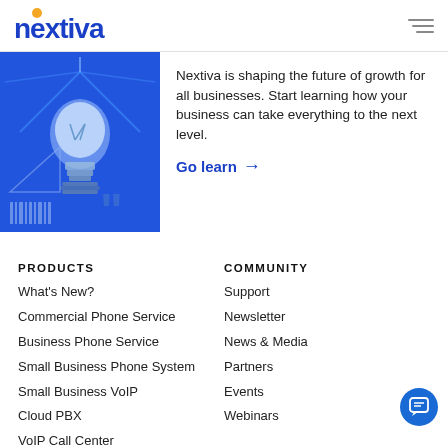nextiva
[Figure (illustration): Blue background illustration with a glowing light bulb and geometric shapes]
Nextiva is shaping the future of growth for all businesses. Start learning how your business can take everything to the next level.
Go learn →
PRODUCTS
What's New?
Commercial Phone Service
Business Phone Service
Small Business Phone System
Small Business VoIP
Cloud PBX
VoIP Call Center
COMMUNITY
Support
Newsletter
News & Media
Partners
Events
Webinars